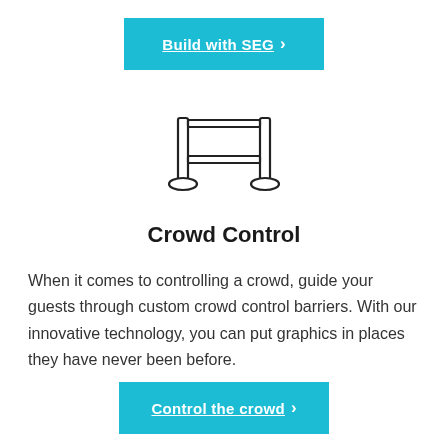[Figure (illustration): Cyan/teal rectangular button labeled 'Build with SEG' with a right chevron arrow, white bold underlined text]
[Figure (illustration): Line drawing icon of a crowd control barrier: two vertical posts with round bases connected by a horizontal rectangular frame/rope barrier]
Crowd Control
When it comes to controlling a crowd, guide your guests through custom crowd control barriers. With our innovative technology, you can put graphics in places they have never been before.
[Figure (illustration): Cyan/teal rectangular button labeled 'Control the crowd' with a right chevron arrow, white bold underlined text]